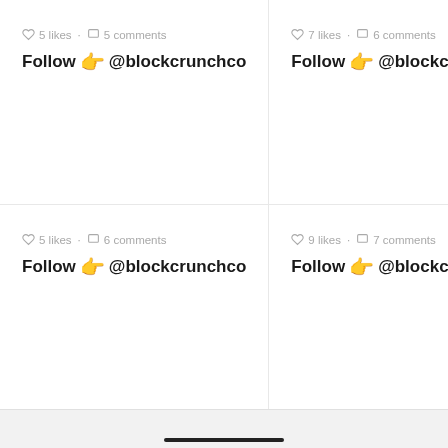♡ 5 likes · ☐ 5 comments
Follow 👉 @blockcrunchco
♡ 7 likes · ☐ 6 comments
Follow 👉 @blockcrunchco
♡ 5 likes · ☐ 6 comments
Follow 👉 @blockcrunchco
♡ 9 likes · ☐ 7 comments
Follow 👉 @blockcrunchco